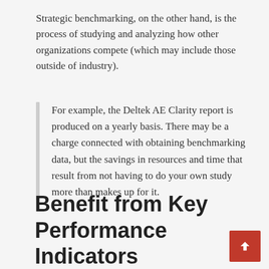Strategic benchmarking, on the other hand, is the process of studying and analyzing how other organizations compete (which may include those outside of industry).
For example, the Deltek AE Clarity report is produced on a yearly basis. There may be a charge connected with obtaining benchmarking data, but the savings in resources and time that result from not having to do your own study more than makes up for it.
Benefit from Key Performance Indicators